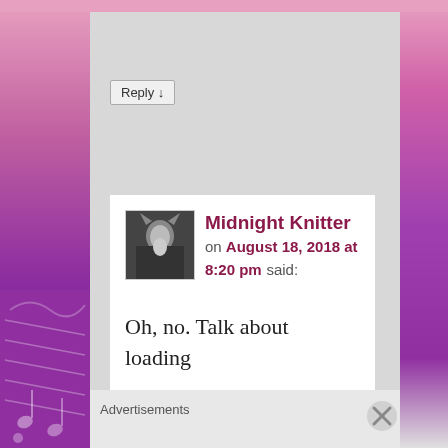[Figure (screenshot): Blog comment section screenshot showing a reply button, a comment card with avatar, commenter name 'Midnight Knitter', date 'August 18, 2018 at 8:20 pm', and beginning of comment text 'Oh, no. Talk about loading'. Background has purple/pink decorative music-themed side panels. An Advertisements label appears at the bottom.]
Reply ↓
Midnight Knitter on August 18, 2018 at 8:20 pm said:
Oh, no. Talk about loading
Advertisements